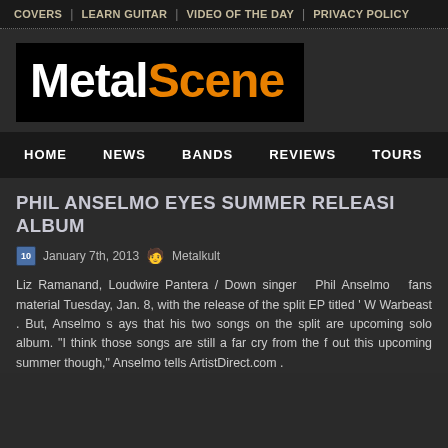COVERS | LEARN GUITAR | VIDEO OF THE DAY | PRIVACY POLICY
[Figure (logo): MetalScene logo — white 'Metal' and orange 'Scene' text on black background]
HOME  NEWS  BANDS  REVIEWS  TOURS
PHIL ANSELMO EYES SUMMER RELEASE ALBUM
January 7th, 2013  Metalkult
Liz Ramanand, Loudwire Pantera / Down singer Phil Anselmo fans material Tuesday, Jan. 8, with the release of the split EP titled ' W Warbeast . But, Anselmo s ays that his two songs on the split are upcoming solo album. "I think those songs are still a far cry from the f out this upcoming summer though," Anselmo tells ArtistDirect.com .